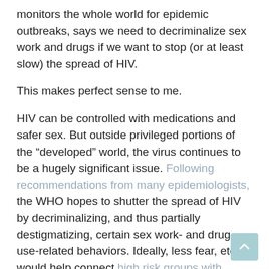monitors the whole world for epidemic outbreaks, says we need to decriminalize sex work and drugs if we want to stop (or at least slow) the spread of HIV.
This makes perfect sense to me.
HIV can be controlled with medications and safer sex. But outside privileged portions of the “developed” world, the virus continues to be a hugely significant issue. Following recommendations from many epidemiologists, the WHO hopes to shutter the spread of HIV by decriminalizing, and thus partially destigmatizing, certain sex work- and drug use-related behaviors. Ideally, less fear, etc would help connect high risk groups with preventative information and programs and/or treatment, thus blocking a (the?) main avenue the virus uses to get into the general population.
Cool!
A reporter from Someplace That Shall Remain Nameless